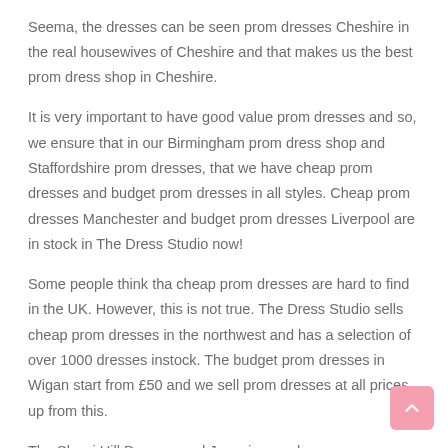Seema, the dresses can be seen prom dresses Cheshire in the real housewives of Cheshire and that makes us the best prom dress shop in Cheshire.
It is very important to have good value prom dresses and so, we ensure that in our Birmingham prom dress shop and Staffordshire prom dresses, that we have cheap prom dresses and budget prom dresses in all styles. Cheap prom dresses Manchester and budget prom dresses Liverpool are in stock in The Dress Studio now!
Some people think tha cheap prom dresses are hard to find in the UK. However, this is not true. The Dress Studio sells cheap prom dresses in the northwest and has a selection of over 1000 dresses instock. The budget prom dresses in Wigan start from £50 and we sell prom dresses at all prices up from this.
The Sherri Hill Dresses and Jovani prom dresses are more expensive but they are very cool prom dresses and are